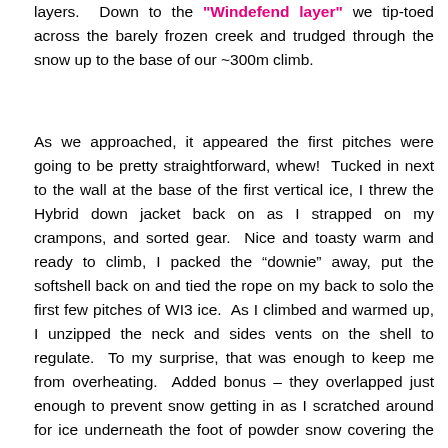layers. Down to the "Windefend layer" we tip-toed across the barely frozen creek and trudged through the snow up to the base of our ~300m climb.
As we approached, it appeared the first pitches were going to be pretty straightforward, whew! Tucked in next to the wall at the base of the first vertical ice, I threw the Hybrid down jacket back on as I strapped on my crampons, and sorted gear. Nice and toasty warm and ready to climb, I packed the “downie” away, put the softshell back on and tied the rope on my back to solo the first few pitches of WI3 ice. As I climbed and warmed up, I unzipped the neck and sides vents on the shell to regulate. To my surprise, that was enough to keep me from overheating. Added bonus – they overlapped just enough to prevent snow getting in as I scratched around for ice underneath the foot of powder snow covering the scary, thin, top-outs. Once the initial ice steps were past,